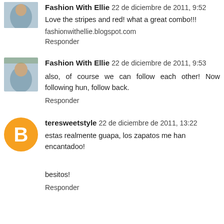[Figure (photo): Avatar photo of Fashion With Ellie (first comment, top of page, partially visible)]
Fashion With Ellie 22 de diciembre de 2011, 9:52
Love the stripes and red! what a great combo!!!
fashionwithellie.blogspot.com
Responder
[Figure (photo): Avatar photo of Fashion With Ellie (second comment)]
Fashion With Ellie 22 de diciembre de 2011, 9:53
also, of course we can follow each other! Now following hun, follow back.
Responder
[Figure (logo): Blogger 'B' logo avatar for teresweetstyle (orange circle with white B)]
teresweetstyle 22 de diciembre de 2011, 13:22
estas realmente guapa, los zapatos me han encantadoo!
besitos!
Responder